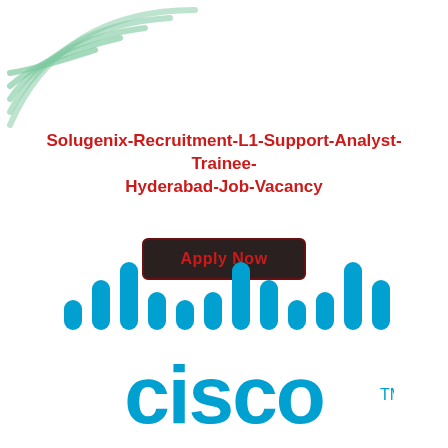[Figure (logo): Decorative arc/signal wave logo in light green, top-left corner]
Solugenix-Recruitment-L1-Support-Analyst-Trainee-Hyderabad-Job-Vacancy
Apply Now
[Figure (logo): Cisco logo with signal bars above and 'cisco' text in blue with TM mark]